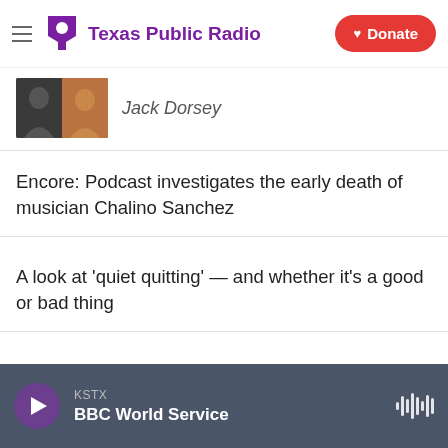Texas Public Radio | Donate
[Figure (photo): Partial article thumbnail showing two people (Jack Dorsey context)]
Jack Dorsey
Encore: Podcast investigates the early death of musician Chalino Sanchez
A look at 'quiet quitting' — and whether it's a good or bad thing
KSTX  BBC World Service